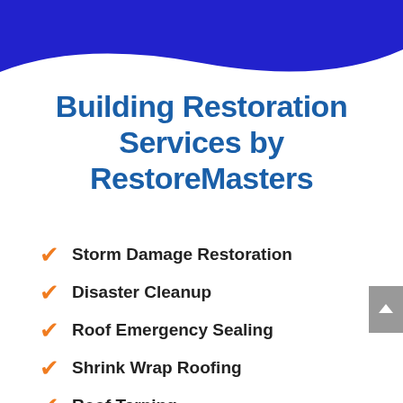[Figure (illustration): Blue wave/swoosh decorative header banner at the top of the page]
Building Restoration Services by RestoreMasters
Storm Damage Restoration
Disaster Cleanup
Roof Emergency Sealing
Shrink Wrap Roofing
Roof Tarping
Site Containment